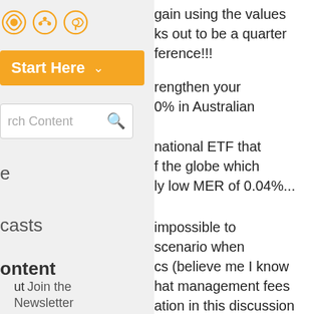[Figure (other): Podcast platform icons: Spotify, Google Podcasts, Apple Podcasts]
Start Here ▾
rch Content
e
casts
ontent
Join the Newsletter
gain using the values ks out to be a quarter ference!!!
rengthen your 0% in Australian
national ETF that f the globe which ly low MER of 0.04%...
impossible to scenario when cs (believe me I know hat management fees ation in this discussion value that we can